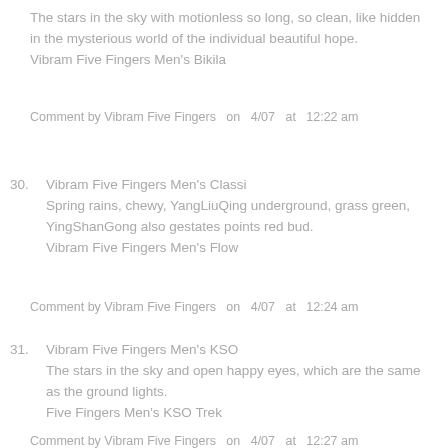The stars in the sky with motionless so long, so clean, like hidden in the mysterious world of the individual beautiful hope.
Vibram Five Fingers Men's Bikila
Comment by Vibram Five Fingers  on  4/07  at  12:22 am
30. Vibram Five Fingers Men's Classi
Spring rains, chewy, YangLiuQing underground, grass green, YingShanGong also gestates points red bud.
Vibram Five Fingers Men's Flow
Comment by Vibram Five Fingers  on  4/07  at  12:24 am
31. Vibram Five Fingers Men's KSO
The stars in the sky and open happy eyes, which are the same as the ground lights.
Five Fingers Men's KSO Trek
Comment by Vibram Five Fingers  on  4/07  at  12:27 am